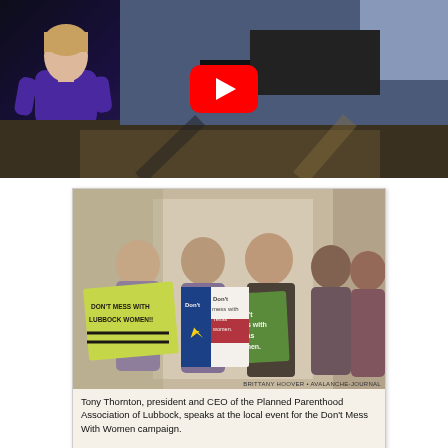[Figure (screenshot): YouTube video thumbnail showing a person in a purple top walking away from the camera, with a YouTube play button overlay in the center]
[Figure (photo): Scanned newspaper photo showing Tony Thornton, president and CEO of the Planned Parenthood Association of Lubbock, speaking at the local event for the Don't Mess With Women campaign. Several people hold signs reading 'Don't Mess With Lubbock Women' and 'Don't mess with Texas women']
Tony Thornton, president and CEO of the Planned Parenthood Association of Lubbock, speaks at the local event for the Don't Mess With Women campaign.